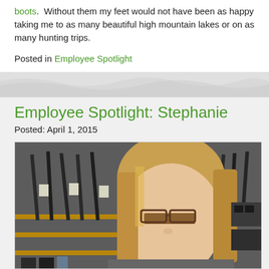boots.  Without them my feet would not have been as happy taking me to as many beautiful high mountain lakes or on as many hunting trips.
Posted in Employee Spotlight
Employee Spotlight: Stephanie
Posted: April 1, 2015
[Figure (photo): Photo of Stephanie, a woman with blonde hair and glasses, standing in front of a gun store display with rifles on racks in the background.]